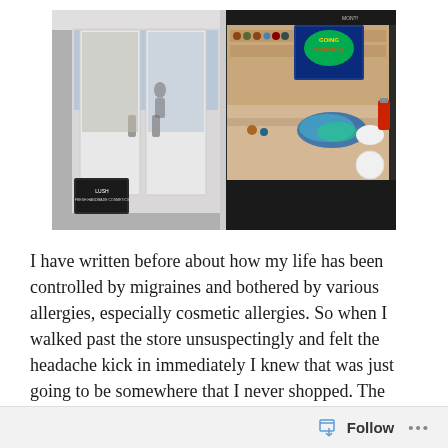[Figure (photo): Exterior photo of a LUSH cosmetics store front, showing white double glass doors on the left and a colorful shop window display on the right with products on shelves, a bright blue/green poster, and a sandwich board sign outside.]
I have written before about how my life has been controlled by migraines and bothered by various allergies, especially cosmetic allergies. So when I walked past the store unsuspectingly and felt the headache kick in immediately I knew that was just going to be somewhere that I never shopped. The problem was, their products looked pretty lovely and people would constantly speak about how good
Follow ···